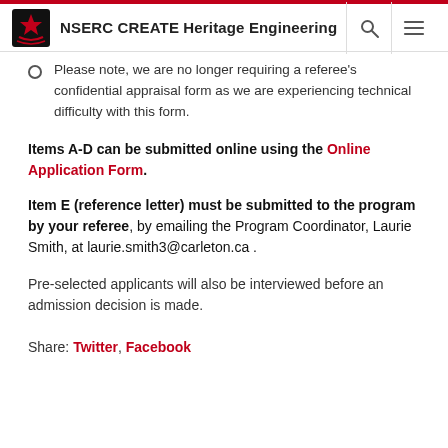NSERC CREATE Heritage Engineering
Please note, we are no longer requiring a referee's confidential appraisal form as we are experiencing technical difficulty with this form.
Items A-D can be submitted online using the Online Application Form.
Item E (reference letter) must be submitted to the program by your referee, by emailing the Program Coordinator, Laurie Smith, at laurie.smith3@carleton.ca .
Pre-selected applicants will also be interviewed before an admission decision is made.
Share: Twitter, Facebook